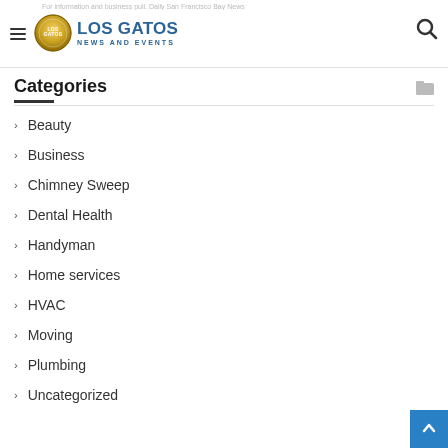For information and business pull. Daily San Francisco Bay News
[Figure (logo): Los Gatos News and Events logo — circular gold emblem with 'LOS GATOS' text in blue and 'NEWS AND EVENTS' subtitle]
Categories
Beauty
Business
Chimney Sweep
Dental Health
Handyman
Home services
HVAC
Moving
Plumbing
Uncategorized